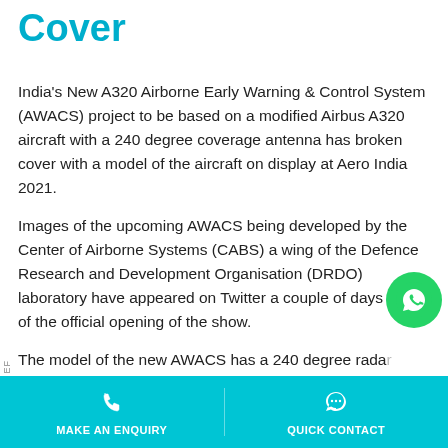Cover
India's New A320 Airborne Early Warning & Control System (AWACS) project to be based on a modified Airbus A320 aircraft with a 240 degree coverage antenna has broken cover with a model of the aircraft on display at Aero India 2021.
Images of the upcoming AWACS being developed by the Center of Airborne Systems (CABS) a wing of the Defence Research and Development Organisation (DRDO) laboratory have appeared on Twitter a couple of days ahead of the official opening of the show.
The model of the new AWACS has a 240 degree radar similar to the 'Netra' early warning system developed by the CABS-DRDO and mounted on an Embraer plat
MAKE AN ENQUIRY    QUICK CONTACT